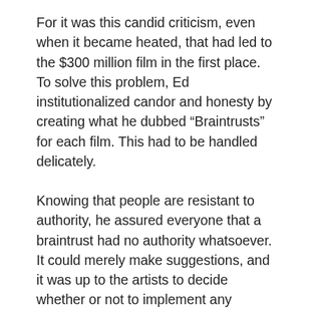For it was this candid criticism, even when it became heated, that had led to the $300 million film in the first place. To solve this problem, Ed institutionalized candor and honesty by creating what he dubbed “Braintrusts” for each film. This had to be handled delicately.
Knowing that people are resistant to authority, he assured everyone that a braintrust had no authority whatsoever. It could merely make suggestions, and it was up to the artists to decide whether or not to implement any changes at all. The sole purpose of the braintrust was to provide a “pulse” for the director to gain intelligent feedback. It’s purpose was to ease sensitivity of debate...